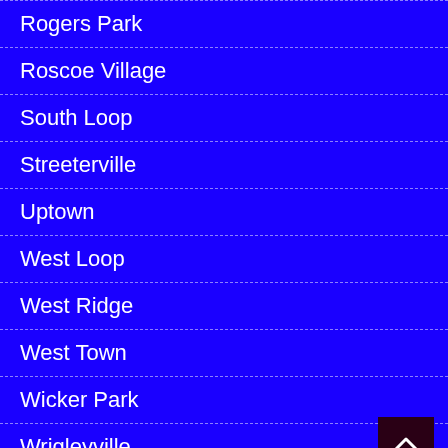Rogers Park
Roscoe Village
South Loop
Streeterville
Uptown
West Loop
West Ridge
West Town
Wicker Park
Wrigleyville
ABOUT CWBCHICAGO
[Figure (infographic): Advertisement banner: Up To $75 Off Goodyear Tires - Virginia Tire & Auto of Ashburn Fa.]